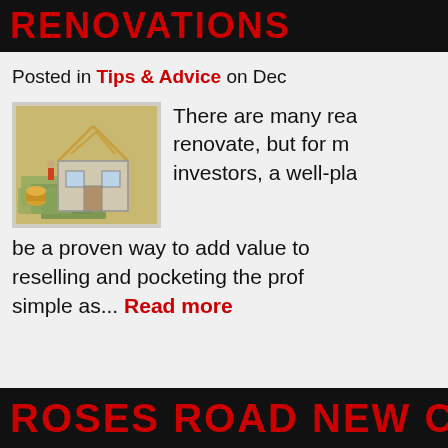RENOVATIONS
Posted in Tips & Advice on Dec
[Figure (photo): A miniature house model under construction surrounded by money/dollar bills, representing real estate renovation investment.]
There are many rea… renovate, but for m… investors, a well-pla… be a proven way to add value to… reselling and pocketing the prof… simple as... Read more
ROSES ROAD NEW C